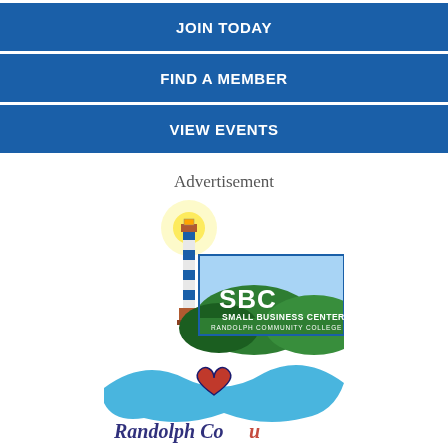JOIN TODAY
FIND A MEMBER
VIEW EVENTS
Advertisement
[Figure (logo): SBC Small Business Center Randolph Community College logo with lighthouse]
[Figure (logo): Randolph County logo with heart and blue brushstroke]